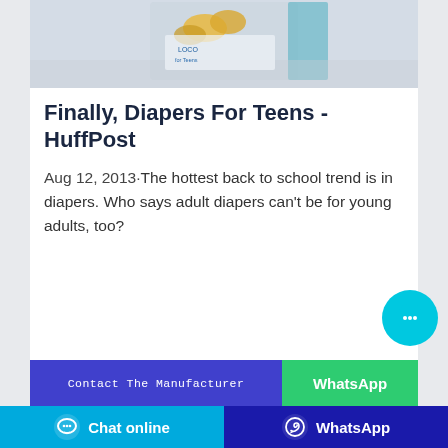[Figure (photo): Product image of a diaper/baby product box shown partially at the top of the card]
Finally, Diapers For Teens - HuffPost
Aug 12, 2013·The hottest back to school trend is in diapers. Who says adult diapers can't be for young adults, too?
[Figure (other): Cyan circular chat bubble button with ellipsis icon]
Contact The Manufacturer
WhatsApp
Chat online
WhatsApp